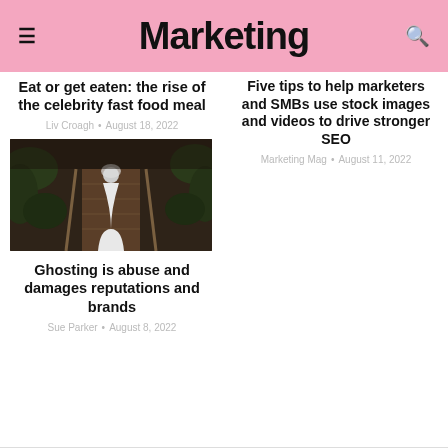Marketing
Eat or get eaten: the rise of the celebrity fast food meal
Liv Croagh • August 18, 2022
Five tips to help marketers and SMBs use stock images and videos to drive stronger SEO
Marketing Mag • August 11, 2022
[Figure (photo): Person in white dress walking up wooden stairs surrounded by dark foliage]
Ghosting is abuse and damages reputations and brands
Sue Parker • August 8, 2022